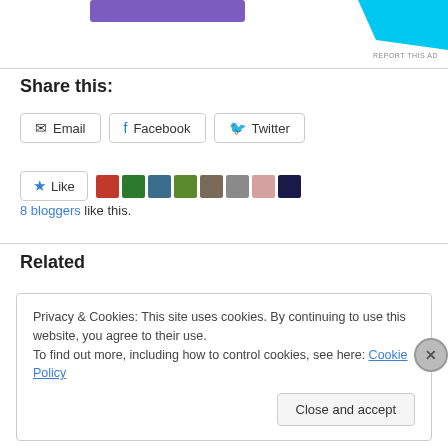[Figure (screenshot): Advertisement area with purple button and cyan graphic, with 'REPORT THIS AD' text]
Share this:
Email | Facebook | Twitter share buttons
Like  8 bloggers like this.
Related
Privacy & Cookies: This site uses cookies. By continuing to use this website, you agree to their use.
To find out more, including how to control cookies, see here: Cookie Policy
Close and accept